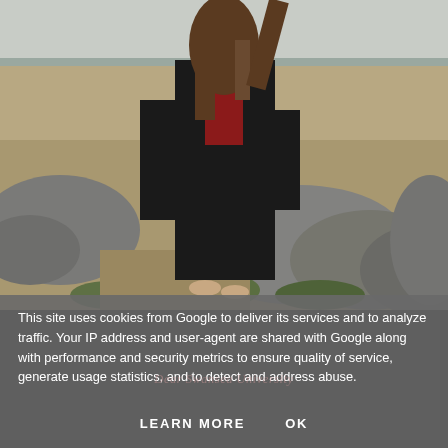[Figure (photo): A person wearing a black graduation gown with a red and white hood stands on rocky terrain at a beach, facing away from the camera, with sandy beach and ocean visible in the background.]
This site uses cookies from Google to deliver its services and to analyze traffic. Your IP address and user-agent are shared with Google along with performance and security metrics to ensure quality of service, generate usage statistics, and to detect and address abuse.
Dear Swansea University
LEARN MORE    OK